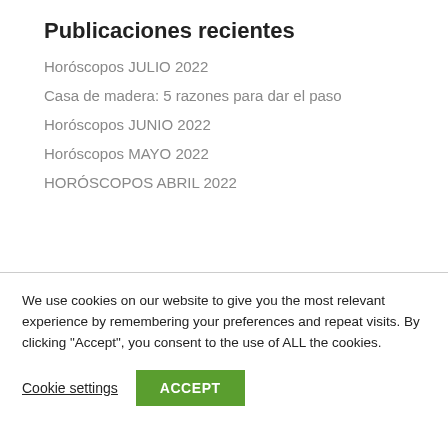Publicaciones recientes
Horóscopos JULIO 2022
Casa de madera: 5 razones para dar el paso
Horóscopos JUNIO 2022
Horóscopos MAYO 2022
HORÓSCOPOS ABRIL 2022
We use cookies on our website to give you the most relevant experience by remembering your preferences and repeat visits. By clicking “Accept”, you consent to the use of ALL the cookies.
Cookie settings   ACCEPT